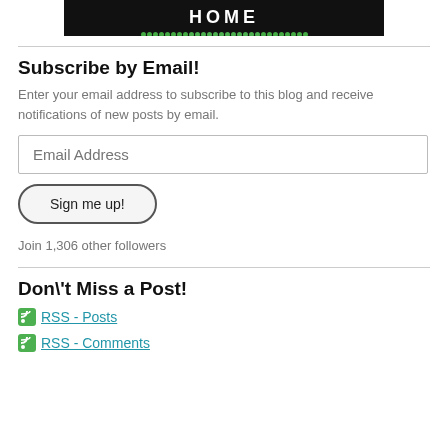[Figure (logo): Black banner with 'HOME' text in white and green dotted line below]
Subscribe by Email!
Enter your email address to subscribe to this blog and receive notifications of new posts by email.
Email Address
Sign me up!
Join 1,306 other followers
Don\'t Miss a Post!
RSS - Posts
RSS - Comments